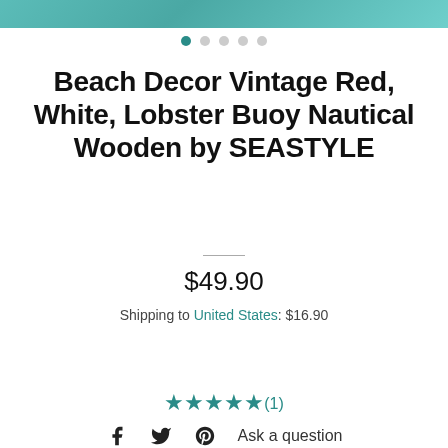[Figure (photo): Teal/turquoise wooden background product image strip at top]
[Figure (other): Image carousel dot indicators: 5 dots, first one active (teal), rest grey]
Beach Decor Vintage Red, White, Lobster Buoy Nautical Wooden by SEASTYLE
$49.90
Shipping to United States: $16.90
Add to cart
★★★★★(1)
Ask a question